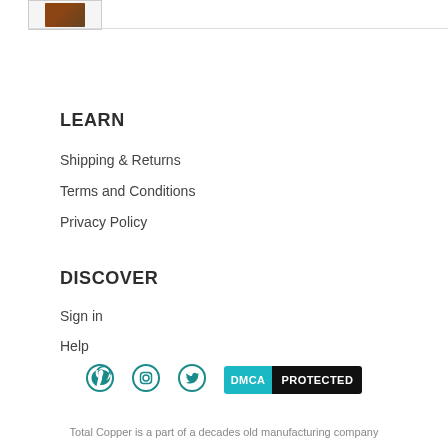[Figure (photo): Small thumbnail image showing a brownish product photo]
LEARN
Shipping & Returns
Terms and Conditions
Privacy Policy
DISCOVER
Sign in
Help
[Figure (infographic): Social media icons: Pinterest, Instagram, Twitter, and DMCA Protected badge]
Total Copper is a part of a decades old manufacturing company